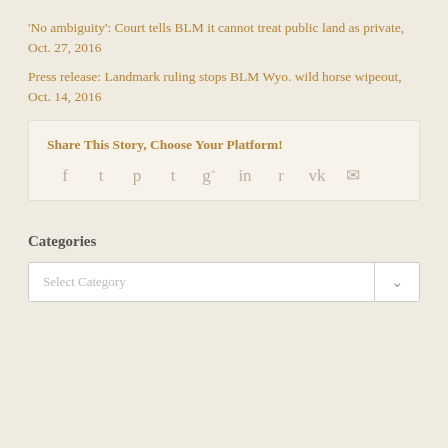'No ambiguity': Court tells BLM it cannot treat public land as private, Oct. 27, 2016
Press release: Landmark ruling stops BLM Wyo. wild horse wipeout, Oct. 14, 2016
Share This Story, Choose Your Platform!
[Figure (infographic): Social share icons: Facebook, Twitter, Pinterest, Tumblr, Google+, LinkedIn, Reddit, Vk, Email]
Categories
Select Category